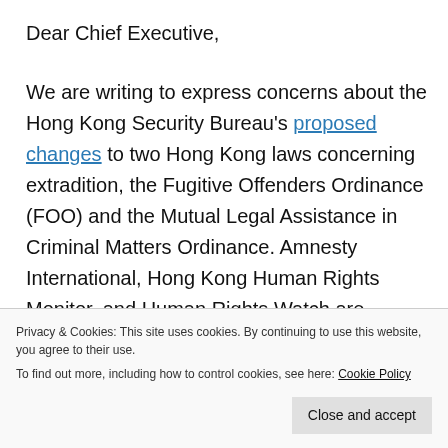Dear Chief Executive,
We are writing to express concerns about the Hong Kong Security Bureau's proposed changes to two Hong Kong laws concerning extradition, the Fugitive Offenders Ordinance (FOO) and the Mutual Legal Assistance in Criminal Matters Ordinance. Amnesty International, Hong Kong Human Rights Monitor, and Human Rights Watch are concerned that these changes would remove existing safeguards from the process of
Privacy & Cookies: This site uses cookies. By continuing to use this website, you agree to their use.
To find out more, including how to control cookies, see here: Cookie Policy
Close and accept